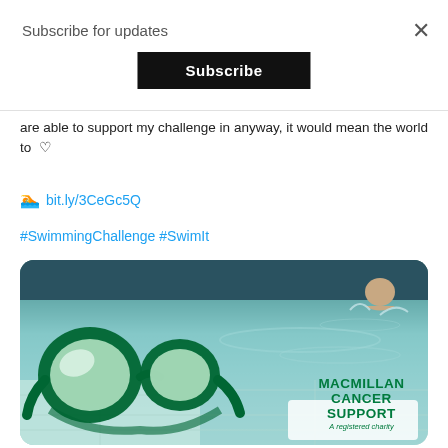Subscribe for updates
Subscribe
are able to support my challenge in anyway, it would mean the world to ♡
🏊 bit.ly/3CeGc5Q
#SwimmingChallenge #SwimIt
[Figure (photo): Swimming pool photo with Macmillan Cancer Support branding and swimming goggles overlay graphic in green]